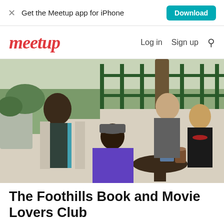Get the Meetup app for iPhone  Download
Meetup  Log in  Sign up
[Figure (photo): Four women posing together outdoors at a cafe setting with a round table, coffee cup, and decorative iron fencing in background. One woman seated wearing blue jacket and grey cap, one standing on left in teal and black patterned outfit, one in dark top with red necklace on right, one in grey top standing behind.]
The Foothills Book and Movie Lovers Club